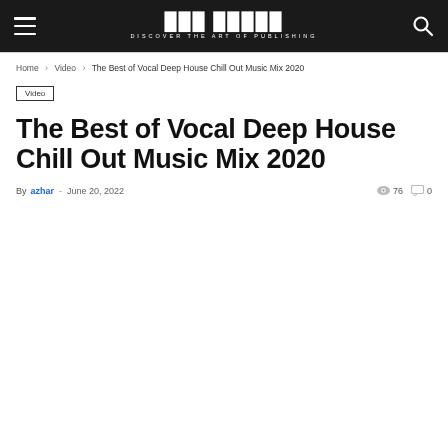THE PLUGIN — DISCOVER THE ART OF PUBLISHING
Home › Video › The Best of Vocal Deep House Chill Out Music Mix 2020
Video
The Best of Vocal Deep House Chill Out Music Mix 2020
By azhar - June 20, 2022  👁 76  💬 0